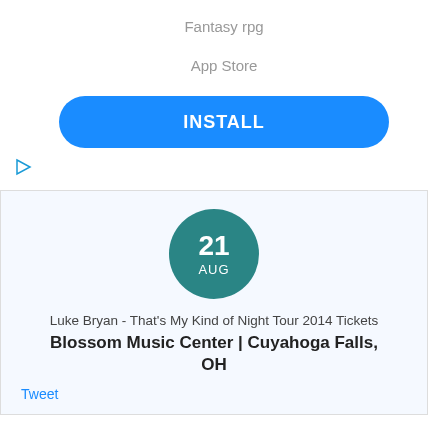Fantasy rpg
App Store
INSTALL
[Figure (other): Ad indicator icon - small triangle/play arrow in blue outline]
[Figure (other): Teal circle with date: 21 AUG]
Luke Bryan - That's My Kind of Night Tour 2014 Tickets
Blossom Music Center | Cuyahoga Falls, OH
Tweet